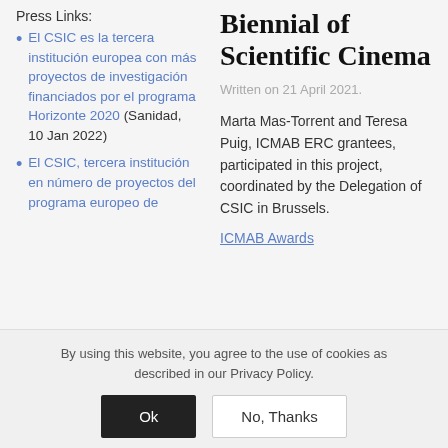Press Links:
El CSIC es la tercera institución europea con más proyectos de investigación financiados por el programa Horizonte 2020 (Sanidad, 10 Jan 2022)
El CSIC, tercera institución en número de proyectos del programa europeo de
Biennial of Scientific Cinema
Written on 21 April 2021.
Marta Mas-Torrent and Teresa Puig, ICMAB ERC grantees, participated in this project, coordinated by the Delegation of CSIC in Brussels.
ICMAB Awards
By using this website, you agree to the use of cookies as described in our Privacy Policy.